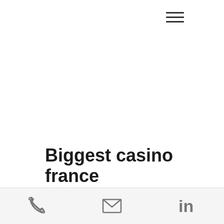[Figure (other): Hamburger menu icon (three horizontal lines) in top right area of page]
Biggest casino france
Redeeming Coupon Codes at Planet 7 No Deposit Bonus Code: FALL285 $285 Free Chip Deposit Bonus Code: CASINO400 400% Welcome Bonus No, biggest casino france. Chumba Casino No Deposit Bonus
Phone | Email | LinkedIn